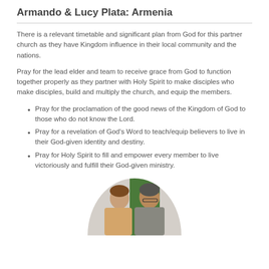Armando & Lucy Plata: Armenia
There is a relevant timetable and significant plan from God for this partner church as they have Kingdom influence in their local community and the nations.
Pray for the lead elder and team to receive grace from God to function together properly as they partner with Holy Spirit to make disciples who make disciples, build and multiply the church, and equip the members.
Pray for the proclamation of the good news of the Kingdom of God to those who do not know the Lord.
Pray for a revelation of God's Word to teach/equip believers to live in their God-given identity and destiny.
Pray for Holy Spirit to fill and empower every member to live victoriously and fulfill their God-given ministry.
[Figure (photo): Photo of Armando and Lucy Plata, a couple, shown in a circular crop at the bottom of the page.]